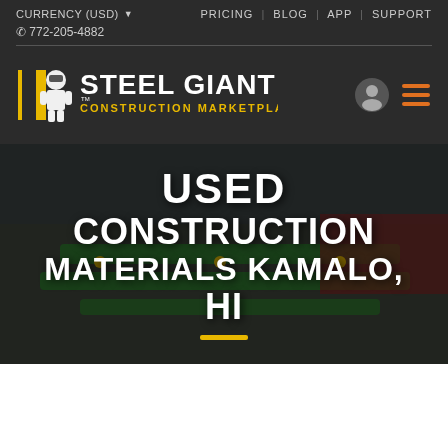CURRENCY (USD) ▾   PRICING | BLOG | APP | SUPPORT
✆ 772-205-4882
[Figure (logo): Steel Giant Construction Marketplace logo with robot mascot, yellow and white text on dark background]
USED CONSTRUCTION MATERIALS KAMALO, HI